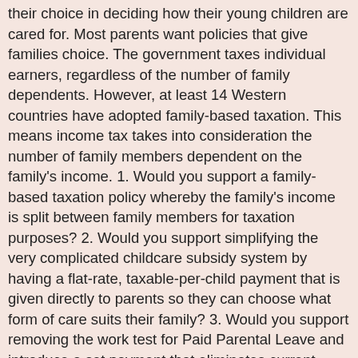their choice in deciding how their young children are cared for. Most parents want policies that give families choice. The government taxes individual earners, regardless of the number of family dependents. However, at least 14 Western countries have adopted family-based taxation. This means income tax takes into consideration the number of family members dependent on the family's income. 1. Would you support a family-based taxation policy whereby the family's income is split between family members for taxation purposes? 2. Would you support simplifying the very complicated childcare subsidy system by having a flat-rate, taxable-per-child payment that is given directly to parents so they can choose what form of care suits their family? 3. Would you support removing the work test for Paid Parental Leave and introduce a set payment that eliminates current inequalities, whereby one mother may receive $550 and another $12,950 based on their recent employment history? 4. For larger families, would you support assistance for purchasing larger cars (people movers), and tax concessions on basic living items such as fuel, electricity, mortgages and rent? While wages rise to compensate for inflation, this pushes taxpayers into higher tax brackets. Bracket creep reduces the government income. 5. Would you support indexing